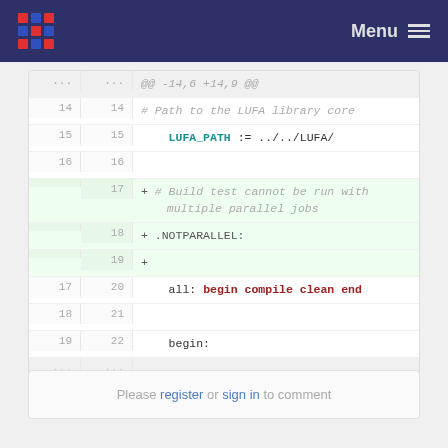Menu
[Figure (screenshot): Code diff view showing a Makefile patch. Lines 14-16 unchanged showing LUFA_PATH definition. Lines 17-19 added: comment '# Build test cannot be run with multiple parallel jobs', '.NOTPARALLEL:', and blank. Lines 17-22 show context with all: begin compile clean end and begin:.]
Please register or sign in to comment